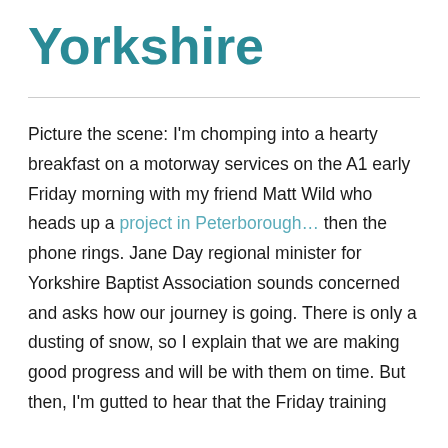Yorkshire
Picture the scene: I'm chomping into a hearty breakfast on a motorway services on the A1 early Friday morning with my friend Matt Wild who heads up a project in Peterborough… then the phone rings. Jane Day regional minister for Yorkshire Baptist Association sounds concerned and asks how our journey is going. There is only a dusting of snow, so I explain that we are making good progress and will be with them on time. But then, I'm gutted to hear that the Friday training